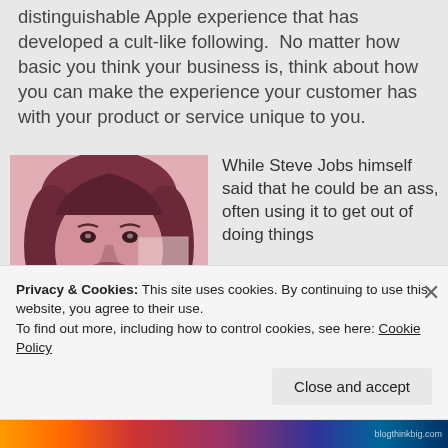distinguishable Apple experience that has developed a cult-like following.  No matter how basic you think your business is, think about how you can make the experience your customer has with your product or service unique to you.
[Figure (photo): Black and white / pink-tinted photo of a young Steve Jobs with long hair and beard, looking at the camera]
While Steve Jobs himself said that he could be an ass, often using it to get out of doing things
Privacy & Cookies: This site uses cookies. By continuing to use this website, you agree to their use.
To find out more, including how to control cookies, see here: Cookie Policy
Close and accept